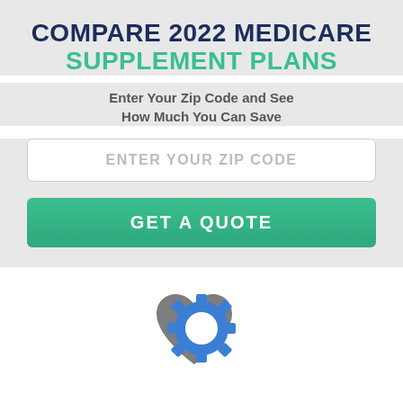COMPARE 2022 MEDICARE SUPPLEMENT PLANS
Enter Your Zip Code and See How Much You Can Save
ENTER YOUR ZIP CODE
GET A QUOTE
[Figure (illustration): Heart and gear icon: a dark gray heart shape with a blue gear/cog overlapping it on the right side, with a white circle center in the gear]
MEDICARE SUPPLEMENT PLANS IN MORA, MINNESOTA